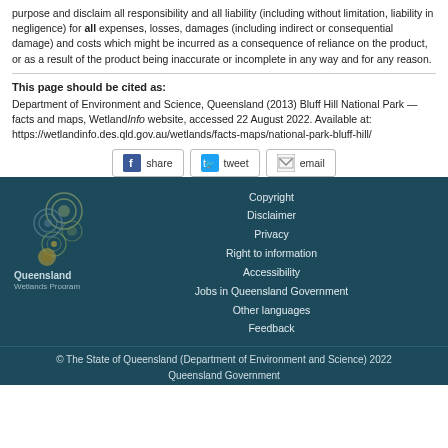purpose and disclaim all responsibility and all liability (including without limitation, liability in negligence) for all expenses, losses, damages (including indirect or consequential damage) and costs which might be incurred as a consequence of reliance on the product, or as a result of the product being inaccurate or incomplete in any way and for any reason.
This page should be cited as:
Department of Environment and Science, Queensland (2013) Bluff Hill National Park — facts and maps, Wetland/Info website, accessed 22 August 2022. Available at: https://wetlandinfo.des.qld.gov.au/wetlands/facts-maps/national-park-bluff-hill/
[Figure (infographic): Social share buttons: Facebook share, Twitter tweet, Email]
[Figure (logo): Queensland Wetlands Program logo with circular design elements]
Copyright
Disclaimer
Privacy
Right to information
Accessibility
Jobs in Queensland Government
Other languages
Feedback
© The State of Queensland (Department of Environment and Science) 2022
Queensland Government